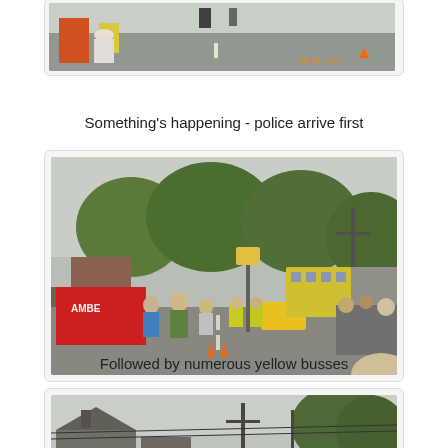[Figure (photo): Street scene with police and emergency vehicles, people watching from roadside, date stamp visible in corner]
Something's happening - police arrive first
[Figure (photo): Street scene showing a yellow bus and red ambulance van labeled AMBE, crowds of people lining the road, overcast sky with trees in background]
Followed by numerous yellow busses
[Figure (photo): Street scene with rooftops and utility poles visible, overcast sky, trees in background]